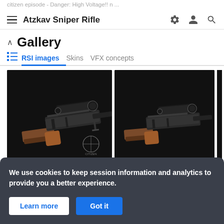citizen episode - Danger: High Voltage!! n ...
Atzkav Sniper Rifle
Gallery
RSI images
Skins
VFX concepts
[Figure (photo): Two rendered images of the Atzkav Sniper Rifle from Star Citizen, shown from slightly different angles on a dark background. The rifle features a scope, dark metallic body, and wooden stock with copper/red accents.]
References
We use cookies to keep session information and analytics to provide you a better experience.
Learn more   Got it